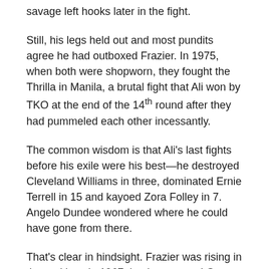savage left hooks later in the fight.
Still, his legs held out and most pundits agree he had outboxed Frazier. In 1975, when both were shopworn, they fought the Thrilla in Manila, a brutal fight that Ali won by TKO at the end of the 14th round after they had pummeled each other incessantly.
The common wisdom is that Ali's last fights before his exile were his best—he destroyed Cleveland Williams in three, dominated Ernie Terrell in 15 and kayoed Zora Folley in 7. Angelo Dundee wondered where he could have gone from there.
That's clear in hindsight. Frazier was rising in the rankings in 1967, having stopped George Chuvalo and Eddie Machen. He was already a threat, although not quite as seasoned as he would later be.